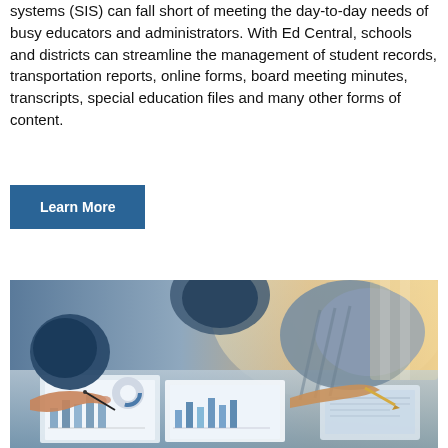systems (SIS) can fall short of meeting the day-to-day needs of busy educators and administrators. With Ed Central, schools and districts can streamline the management of student records, transportation reports, online forms, board meeting minutes, transcripts, special education files and many other forms of content.
Learn More
[Figure (photo): Business meeting photo showing people's hands working over documents with charts and graphs on a desk, with a laptop partially visible]